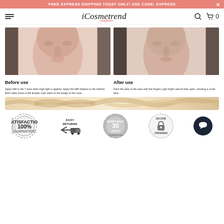FREE EXPRESS SHIPPING TODAY ONLY! USE CODE: EXPRESS
[Figure (screenshot): iCosmetrend website navigation bar with hamburger menu, logo, search icon, and cart icon showing 0]
[Figure (photo): Before use: woman's face without contouring product applied]
[Figure (photo): After use: woman's face with contouring product applied, showing a smaller face effect]
Before use
Apply 03# to the T area when high light is applied.  Apply the 06# shadow to the hairline Both sides close to the temple, both sides of the bridge of the nose.
After use
Feint the area of the area with the fingers Light bright natural halo open, showing a small face.
[Figure (photo): Cream/foundation product swatches showing texture and shades]
[Figure (infographic): Trust badges: 100% Satisfaction Guaranteed, Easy Returns, 30 Days Money Back Guarantee, Secure Ordering, Chat support bubble]